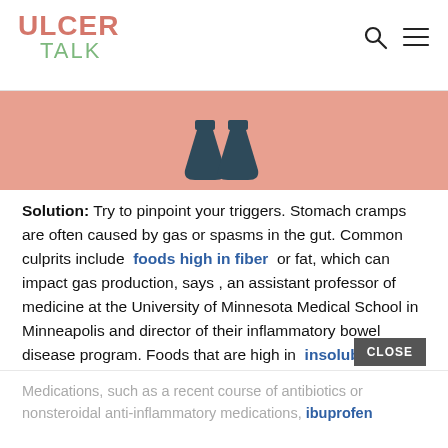ULCER TALK
[Figure (illustration): Decorative header image with salmon/pink background showing two dark teal flask or bottle silhouettes]
Solution: Try to pinpoint your triggers. Stomach cramps are often caused by gas or spasms in the gut. Common culprits include foods high in fiber or fat, which can impact gas production, says , an assistant professor of medicine at the University of Minnesota Medical School in Minneapolis and director of their inflammatory bowel disease program. Foods that are high in insoluble fiber especially cruciferous vegetables, such as broccoli and cauliflower can be particularly hard to digest, according to the Crohns & Colitis Foundation .
Medications, such as a recent course of antibiotics or nonsteroidal anti-inflammatory medications ibuprofen